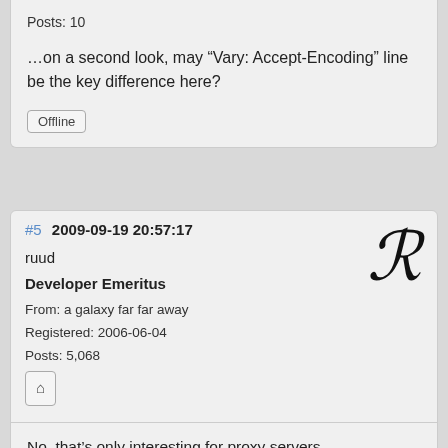Posts: 10
…on a second look, may “Vary: Accept-Encoding” line be the key difference here?
Offline
#5  2009-09-19 20:57:17
ruud
Developer Emeritus
From: a galaxy far far away
Registered: 2006-06-04
Posts: 5,068
No, that’s only interesting for proxy servers.